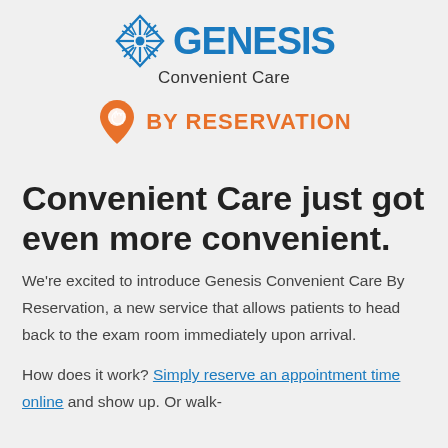[Figure (logo): Genesis Convenient Care logo with blue diamond/starburst icon and blue GENESIS text, with 'Convenient Care' subtitle]
[Figure (logo): Orange map pin icon with hand/touch symbol and 'BY RESERVATION' text in orange bold]
Convenient Care just got even more convenient.
We're excited to introduce Genesis Convenient Care By Reservation, a new service that allows patients to head back to the exam room immediately upon arrival.
How does it work? Simply reserve an appointment time online and show up. Or walk-